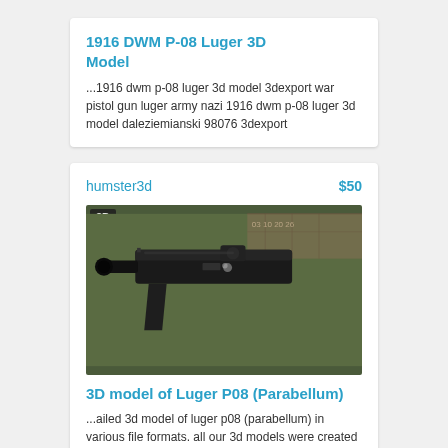1916 DWM P-08 Luger 3D Model
...1916 dwm p-08 luger 3d model 3dexport war pistol gun luger army nazi 1916 dwm p-08 luger 3d model daleziemianski 98076 3dexport
humster3d
$50
[Figure (photo): Photo of a Luger P08 pistol lying on an olive green surface, shown from above at an angle. A '3D' badge is visible in the top-left corner of the image.]
3D model of Luger P08 (Parabellum)
...ailed 3d model of luger p08 (parabellum) in various file formats. all our 3d models were created maximally close to the original.